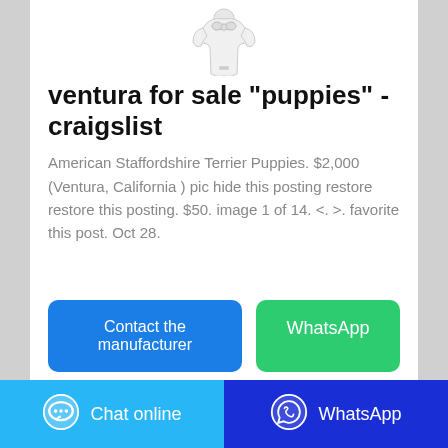[Figure (photo): Product image of white baby clothing item (sleeper/onesie) on white background]
ventura for sale "puppies" - craigslist
American Staffordshire Terrier Puppies. $2,000 (Ventura, California ) pic hide this posting restore restore this posting. $50. image 1 of 14. <. >. favorite this post. Oct 28.
Contact the manufacturer
WhatsApp
Chat online
WhatsApp